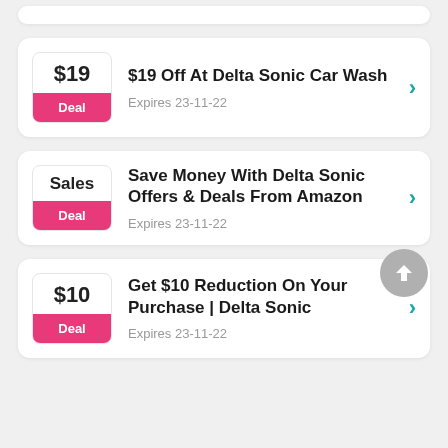$19 Off At Delta Sonic Car Wash — Deal — Expires 23-11-22
Save Money With Delta Sonic Offers & Deals From Amazon — Deal — Expires 23-11-22
Get $10 Reduction On Your Purchase | Delta Sonic — Deal — Expires 23-11-22